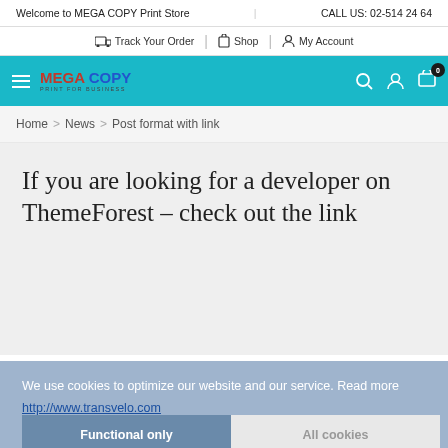Welcome to MEGA COPY Print Store | CALL US: 02-514 24 64
Track Your Order | Shop | My Account
[Figure (logo): MEGA COPY Print for Business logo on teal navigation bar with hamburger menu, search icon, user icon, and cart icon showing 0 items]
Home > News > Post format with link
If you are looking for a developer on ThemeForest – check out the link
We use cookies to optimize our website and our service. Read more
http://www.transvelo.com
Functional only | All cookies